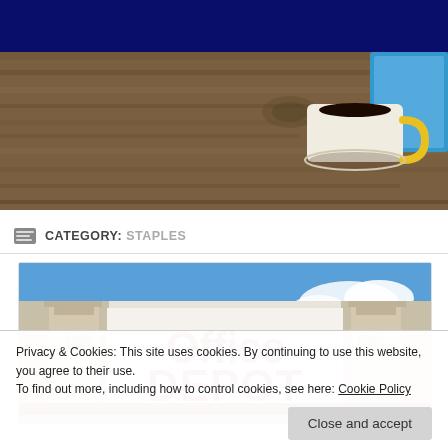[Figure (photo): Dark navy navigation bar at the top of a website]
[Figure (photo): Hero banner image showing a wooden desk surface with a white coffee mug with yellow handle and a blue tablet or device partially visible on the right]
CATEGORY: STAPLES
[Figure (photo): Photo of an Office Depot store exterior sign with large red letters reading 'Office DEPOT' on a white background with beige architectural columns and blue sky]
Privacy & Cookies: This site uses cookies. By continuing to use this website, you agree to their use.
To find out more, including how to control cookies, see here: Cookie Policy
Close and accept